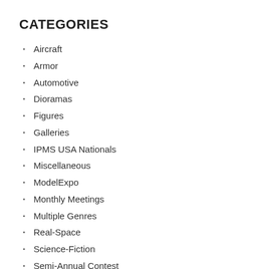CATEGORIES
Aircraft
Armor
Automotive
Dioramas
Figures
Galleries
IPMS USA Nationals
Miscellaneous
ModelExpo
Monthly Meetings
Multiple Genres
Real-Space
Science-Fiction
Semi-Annual Contest
Ships